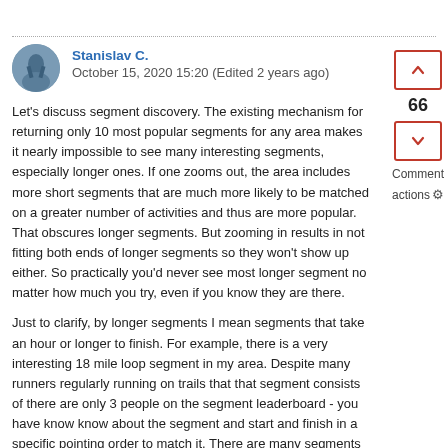Stanislav C.
October 15, 2020 15:20 (Edited 2 years ago)
Let's discuss segment discovery. The existing mechanism for returning only 10 most popular segments for any area makes it nearly impossible to see many interesting segments, especially longer ones. If one zooms out, the area includes more short segments that are much more likely to be matched on a greater number of activities and thus are more popular. That obscures longer segments. But zooming in results in not fitting both ends of longer segments so they won't show up either. So practically you'd never see most longer segment no matter how much you try, even if you know they are there.
Just to clarify, by longer segments I mean segments that take an hour or longer to finish. For example, there is a very interesting 18 mile loop segment in my area. Despite many runners regularly running on trails that that segment consists of there are only 3 people on the segment leaderboard - you have know know about the segment and start and finish in a specific pointing order to match it. There are many segments like that that I learned about